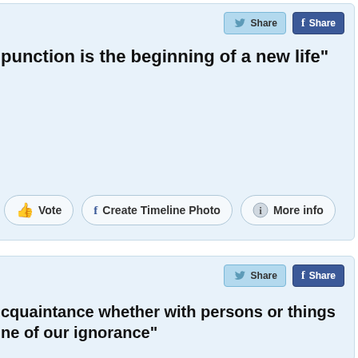[Figure (screenshot): Social share buttons: Twitter Share and Facebook Share]
punction is the beginning of a new life"
[Figure (screenshot): Action buttons: Vote, Create Timeline Photo, More info]
[Figure (screenshot): Social share buttons: Twitter Share and Facebook Share]
cquaintance whether with persons or things ne of our ignorance"